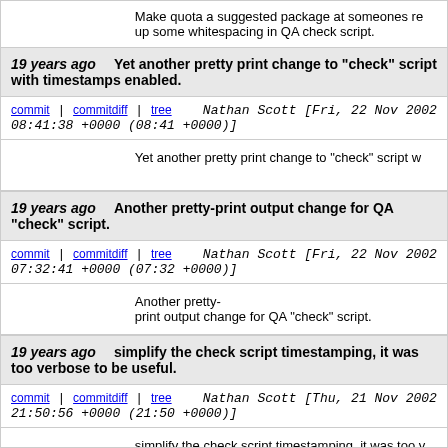Make quota a suggested package at someones re up some whitespacing in QA check script.
19 years ago  Yet another pretty print change to "check" script with timestamps enabled.
commit | commitdiff | tree   Nathan Scott [Fri, 22 Nov 2002 08:41:38 +0000 (08:41 +0000)]
Yet another pretty print change to "check" script w
19 years ago  Another pretty-print output change for QA "check" script.
commit | commitdiff | tree   Nathan Scott [Fri, 22 Nov 2002 07:32:41 +0000 (07:32 +0000)]
Another pretty-print output change for QA "check" script.
19 years ago  simplify the check script timestamping, it was too verbose to be useful.
commit | commitdiff | tree   Nathan Scott [Thu, 21 Nov 2002 21:50:56 +0000 (21:50 +0000)]
simplify the check script timestamping, it was too v